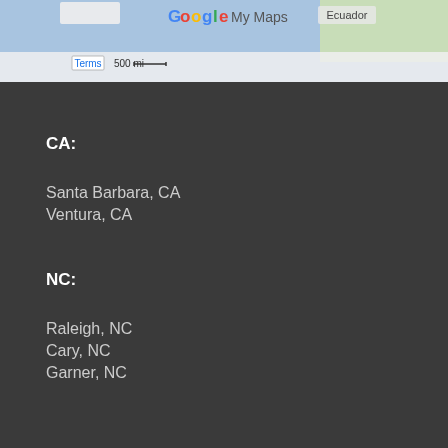[Figure (map): Partial Google My Maps screenshot showing map with Ecuador label, Terms bar, 500 mi scale bar at bottom left]
CA:
Santa Barbara, CA
Ventura, CA
NC:
Raleigh, NC
Cary, NC
Garner, NC